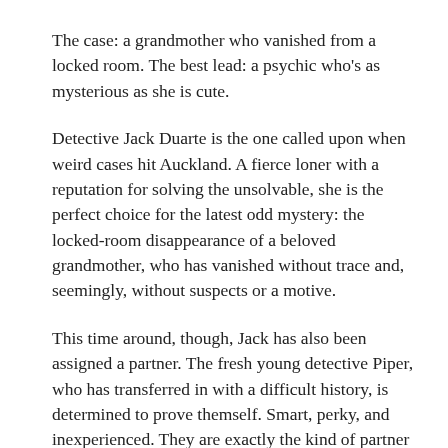The case: a grandmother who vanished from a locked room. The best lead: a psychic who's as mysterious as she is cute.
Detective Jack Duarte is the one called upon when weird cases hit Auckland. A fierce loner with a reputation for solving the unsolvable, she is the perfect choice for the latest odd mystery: the locked-room disappearance of a beloved grandmother, who has vanished without trace and, seemingly, without suspects or a motive.
This time around, though, Jack has also been assigned a partner. The fresh young detective Piper, who has transferred in with a difficult history, is determined to prove themself. Smart, perky, and inexperienced. They are exactly the kind of partner Jack manages to scare away. As they dig deeper into the mystery, though, Jack has to put her own